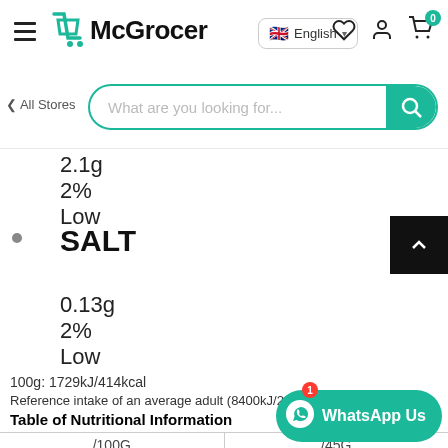McGrocer — English | navigation header with search bar
2.1g
2%
Low
SALT
0.13g
2%
Low
100g: 1729kJ/414kcal
Reference intake of an average adult (8400kJ/2000kcal)
Table of Nutritional Information
| /100G | /45G |
| --- | --- |